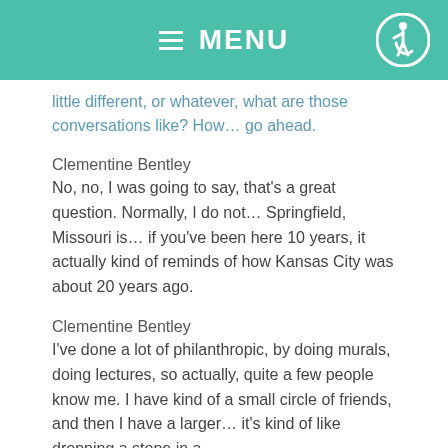≡ MENU
little different, or whatever, what are those conversations like? How… go ahead.
Clementine Bentley
No, no, I was going to say, that's a great question. Normally, I do not… Springfield, Missouri is… if you've been here 10 years, it actually kind of reminds of how Kansas City was about 20 years ago.
Clementine Bentley
I've done a lot of philanthropic, by doing murals, doing lectures, so actually, quite a few people know me. I have kind of a small circle of friends, and then I have a larger… it's kind of like dropping a stone in a